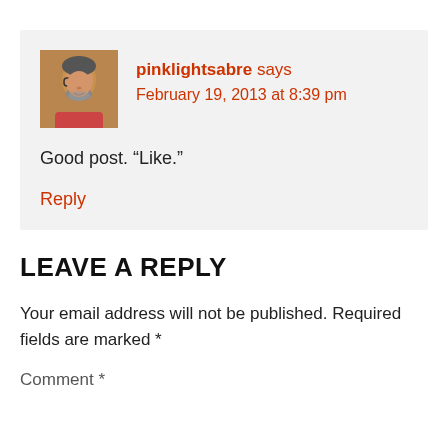[Figure (photo): Avatar photo of a man with glasses and beard, brownish-orange toned]
pinklightsabre says
February 19, 2013 at 8:39 pm
Good post. “Like.”
Reply
LEAVE A REPLY
Your email address will not be published. Required fields are marked *
Comment *